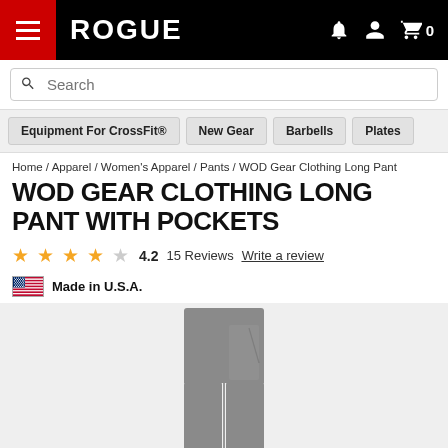ROGUE
Search
Equipment For CrossFit® | New Gear | Barbells | Plates
Home / Apparel / Women's Apparel / Pants / WOD Gear Clothing Long Pant
WOD GEAR CLOTHING LONG PANT WITH POCKETS
4.2  15 Reviews  Write a review
Made in U.S.A.
[Figure (photo): Grey women's athletic long pants with pockets, shown from the front on a white/light grey background]